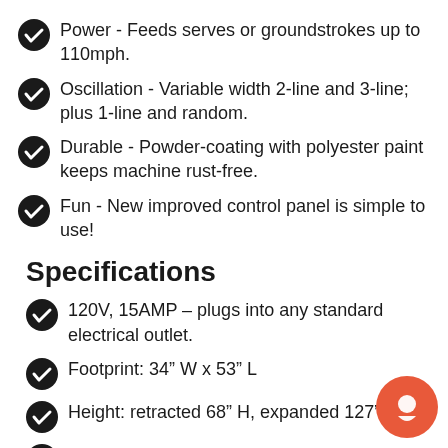Power - Feeds serves or groundstrokes up to 110mph.
Oscillation - Variable width 2-line and 3-line; plus 1-line and random.
Durable - Powder-coating with polyester paint keeps machine rust-free.
Fun - New improved control panel is simple to use!
Specifications
120V, 15AMP – plugs into any standard electrical outlet.
Footprint: 34″ W x 53″ L
Height: retracted 68″ H, expanded 127″ H
Weight: 150 lbs.
Includes remote control